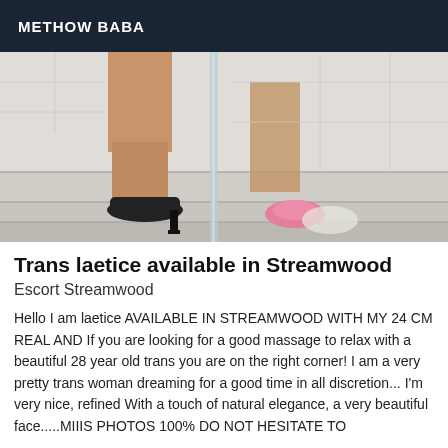METHOW BABA
[Figure (photo): Photo of legs in black high heels on stairs with glass railing, pink shoes visible in background]
Trans laetice available in Streamwood
Escort Streamwood
Hello I am laetice AVAILABLE IN STREAMWOOD WITH MY 24 CM REAL AND If you are looking for a good massage to relax with a beautiful 28 year old trans you are on the right corner! I am a very pretty trans woman dreaming for a good time in all discretion... I'm very nice, refined With a touch of natural elegance, a very beautiful face.....MIIIS PHOTOS 100% DO NOT HESITATE TO